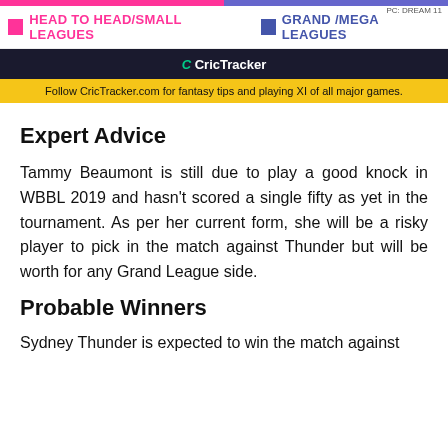[Figure (other): Top color bar split pink and blue/purple]
PC: DREAM 11
[Figure (infographic): Leagues bar with pink square HEAD TO HEAD/SMALL LEAGUES and blue square GRAND /MEGA LEAGUES]
[Figure (logo): CricTracker logo on dark navy background]
Follow CricTracker.com for fantasy tips and playing XI of all major games.
Expert Advice
Tammy Beaumont is still due to play a good knock in WBBL 2019 and hasn't scored a single fifty as yet in the tournament. As per her current form, she will be a risky player to pick in the match against Thunder but will be worth for any Grand League side.
Probable Winners
Sydney Thunder is expected to win the match against